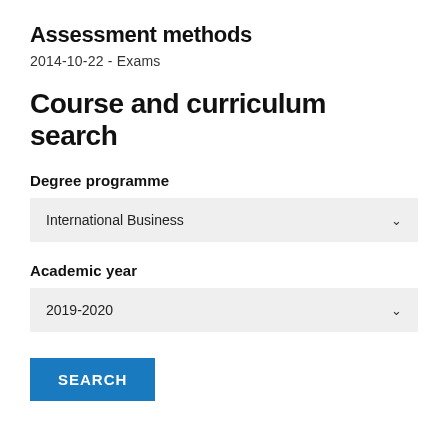Assessment methods
2014-10-22  -  Exams
Course and curriculum search
Degree programme
International Business
Academic year
2019-2020
SEARCH